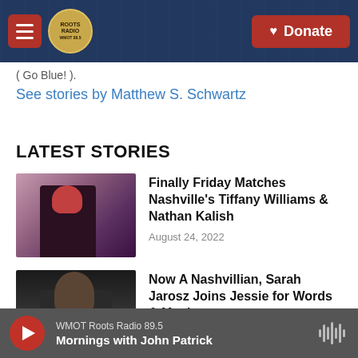Roots Radio — navigation bar with hamburger menu, logo, and Donate button
( Go Blue! ).
See stories by Matthew S. Schwartz
LATEST STORIES
[Figure (photo): Person in red beanie hat, purple/pink bokeh background]
Finally Friday Matches Nashville's Tiffany Williams & Nathan Kalish
August 24, 2022
[Figure (photo): Woman with long dark hair against dark background]
Now A Nashvillian, Sarah Jarosz Joins Jessie for Words & Music
WMOT Roots Radio 89.5 — Mornings with John Patrick